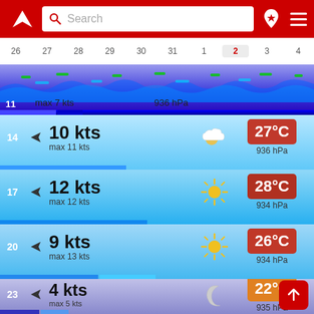[Figure (screenshot): App header with red background, logo, search bar, and navigation icons]
[Figure (infographic): Calendar date strip showing days 26-4 with day 2 highlighted]
[Figure (infographic): Wave/wind visualization strip with max 7 kts and 936 hPa]
[Figure (infographic): Time slot 14: 10 kts, max 11 kts, partly cloudy, 27°C, 936 hPa]
[Figure (infographic): Time slot 17: 12 kts, max 12 kts, sunny, 28°C, 934 hPa]
[Figure (infographic): Time slot 20: 9 kts, max 13 kts, sunny, 26°C, 934 hPa]
[Figure (infographic): Time slot 23: 4 kts, max 5 kts, clear night, 22°C, 935 hPa]